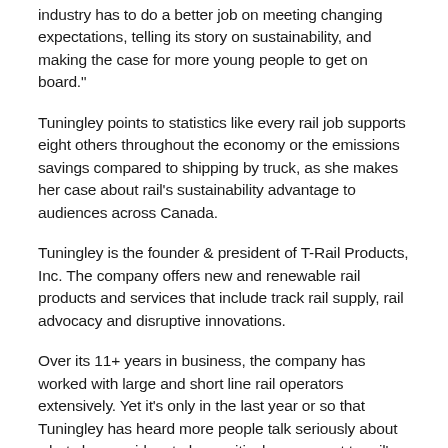industry has to do a better job on meeting changing expectations, telling its story on sustainability, and making the case for more young people to get on board."
Tuningley points to statistics like every rail job supports eight others throughout the economy or the emissions savings compared to shipping by truck, as she makes her case about rail's sustainability advantage to audiences across Canada.
Tuningley is the founder & president of T-Rail Products, Inc. The company offers new and renewable rail products and services that include track rail supply, rail advocacy and disruptive innovations.
Over its 11+ years in business, the company has worked with large and short line rail operators extensively. Yet it's only in the last year or so that Tuningley has heard more people talk seriously about what she considers to be a critical component to rail's survivability: customer-centricity.